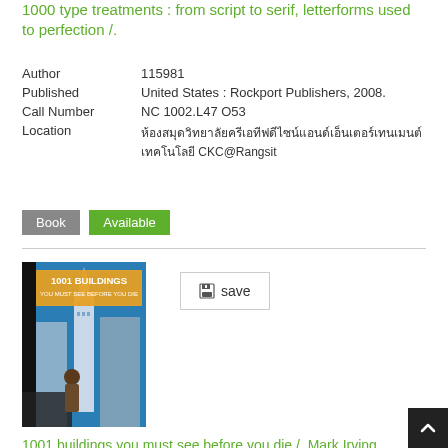1000 type treatments : from script to serif, letterforms used to perfection /.
| Field | Value |
| --- | --- |
| Author | 115981 |
| Published | United States : Rockport Publishers, 2008. |
| Call Number | NC 1002.L47 O53 |
| Location | ห้องสมุดวิทยาลัยครีเอทีฟดีไซน์แอนด์เอ็นเตอร์เทนเมนต์เทคโนโลยี CKC@Rangsit |
Book  Available
[Figure (photo): Book cover of '1001 Buildings You Must See Before You Die' showing Chrysler Building and cityscape]
save
1001 buildings you must see before you die /. Mark Irving, ed.